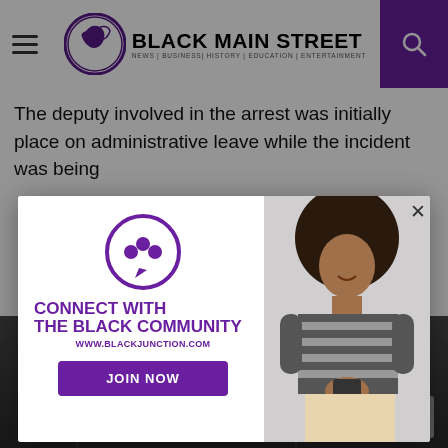BLACK MAIN STREET | NEWS | BUSINESS | HISTORY | EDUCATION | ENTERTAINMENT
The deputy involved in the arrest was initially place on administrative leave while the incident was being
[Figure (screenshot): Modal popup advertisement: Connect With The Black Community - www.blackjunction.com - JOIN NOW button, with woman smiling holding phone on right side]
[Figure (photo): Dark background photo partially visible behind modal, appears to show people in a dimly lit setting]